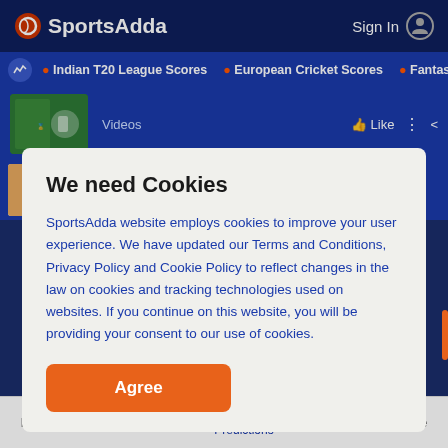SportsAdda  Sign In
• Indian T20 League Scores  • European Cricket Scores  • Fantasy C
Videos  Like
Pawan Sehrawat can be called a perfect all-rounder | Episode 13 | The Kabaddi Adda
We need Cookies
SportsAdda website employs cookies to improve your user experience. We have updated our Terms and Conditions, Privacy Policy and Cookie Policy to reflect changes in the law on cookies and tracking technologies used on websites. If you continue on this website, you will be providing your consent to our use of cookies.
Agree
Home  Cricket Scores  Tips & Predictions  Football  More